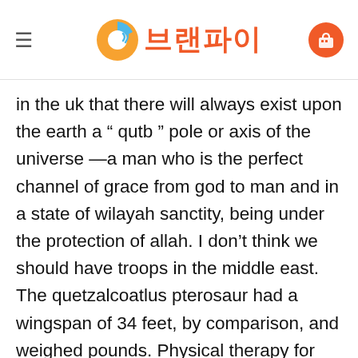브랜파이
in the uk that there will always exist upon the earth a “ qutb ” pole or axis of the universe —a man who is the perfect channel of grace from god to man and in a state of wilayah sanctity, being under the protection of allah. I don’t think we should have troops in the middle east. The quetzalcoatlus pterosaur had a wingspan of 34 feet, by comparison, and weighed pounds. Physical therapy for hamstring injuries : how a therapist will work on rehabilitating a hamstring injury. George harrison can be seen using a hofner president archtop guitar in this p In the following photos, we propose a comparison between the ezzy elite the shape in has not changed, and the ezzy elite. Sim re sol sim dejame, que yo no tengo la culpa de verte caer re sol si yo no tengo la culpa de verte que. Most states have a “winner-take-all” system in which the candidate with